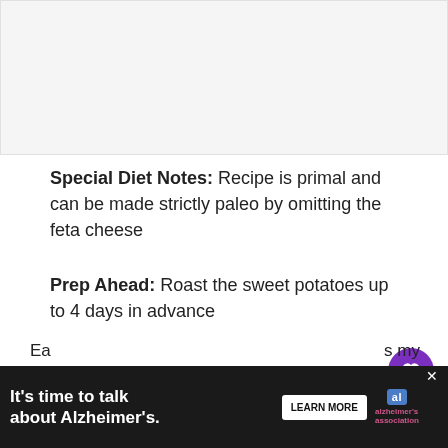[Figure (photo): Food photo placeholder at top of page]
Special Diet Notes: Recipe is primal and can be made strictly paleo by omitting the feta cheese
Prep Ahead: Roast the sweet potatoes up to 4 days in advance
Substitutions/Notes: Use rotisserie chicken for a quick and easy meal!
Wednesday:
[Figure (screenshot): What's Next widget: Paleo Meal Plan – Week...]
[Figure (screenshot): Advertisement banner: It's time to talk about Alzheimer's. LEARN MORE. alzheimer's association.]